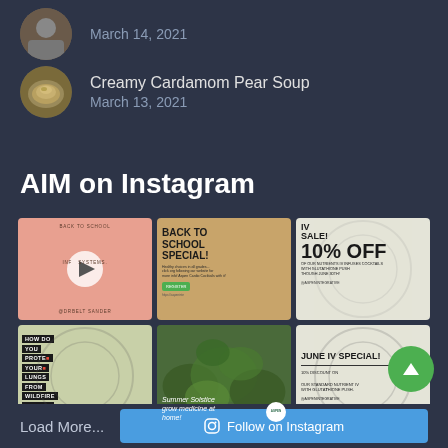March 14, 2021
Creamy Cardamom Pear Soup
March 13, 2021
AIM on Instagram
[Figure (screenshot): 3x2 grid of Instagram posts including a video post with play button on salmon background, a Back to School Special post on tan background, an IV Sale 10% Off post on light background, a wildfire smoke protection post, an herbal medicine at home post, and a June IV Special post]
Load More...
Follow on Instagram